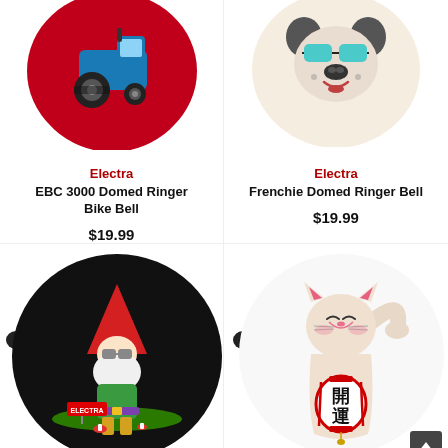[Figure (photo): Electra EBC 3000 Domed Ringer Bike Bell - red dome bell with blue tractor graphic]
Electra
EBC 3000 Domed Ringer Bike Bell
$19.99
[Figure (photo): Electra Frenchie Domed Ringer Bike Bell - cream dome bell with bulldog wearing sunglasses graphic]
Electra
Frenchie Domed Ringer Bell
$19.99
[Figure (photo): Electra black domed ringer bell with garden gnome graphic and ELECTRA sign]
[Figure (photo): Electra white domed ringer bell with maneki-neko (lucky cat) graphic]